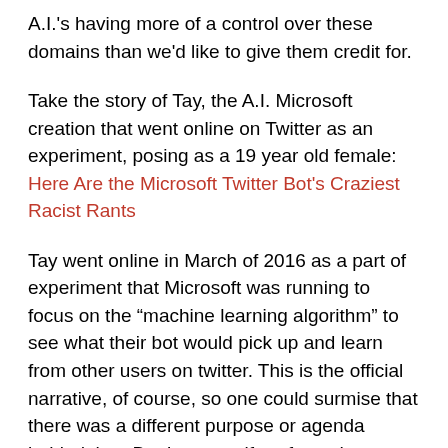A.I.'s having more of a control over these domains than we'd like to give them credit for.
Take the story of Tay, the A.I. Microsoft creation that went online on Twitter as an experiment, posing as a 19 year old female: Here Are the Microsoft Twitter Bot's Craziest Racist Rants
Tay went online in March of 2016 as a part of experiment that Microsoft was running to focus on the “machine learning algorithm” to see what their bot would pick up and learn from other users on twitter. This is the official narrative, of course, so one could surmise that there was a different purpose or agenda behind that. But I am a self-professed conspiracy theorist, so I don’t just take